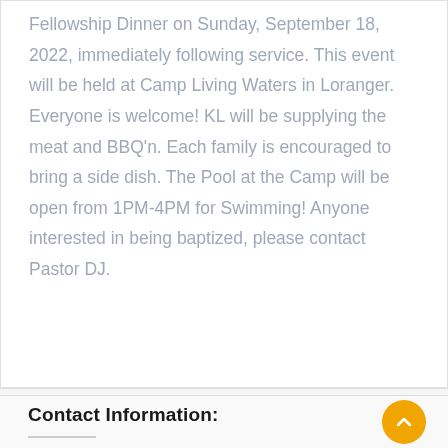Fellowship Dinner on Sunday, September 18, 2022, immediately following service. This event will be held at Camp Living Waters in Loranger. Everyone is welcome! KL will be supplying the meat and BBQ'n. Each family is encouraged to bring a side dish. The Pool at the Camp will be open from 1PM-4PM for Swimming! Anyone interested in being baptized, please contact Pastor DJ.
Contact Information: